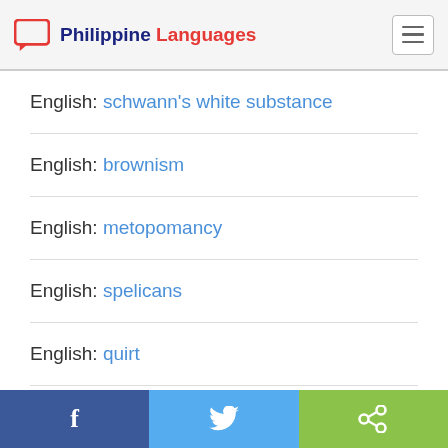Philippine Languages
English: schwann's white substance
English: brownism
English: metopomancy
English: spelicans
English: quirt
Hiligaynon: hagunus
Facebook share | Twitter share | Share